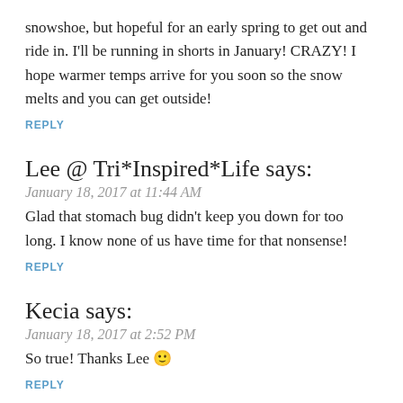snowshoe, but hopeful for an early spring to get out and ride in. I'll be running in shorts in January! CRAZY! I hope warmer temps arrive for you soon so the snow melts and you can get outside!
REPLY
Lee @ Tri*Inspired*Life says:
January 18, 2017 at 11:44 AM
Glad that stomach bug didn't keep you down for too long. I know none of us have time for that nonsense!
REPLY
Kecia says:
January 18, 2017 at 2:52 PM
So true! Thanks Lee 🙂
REPLY